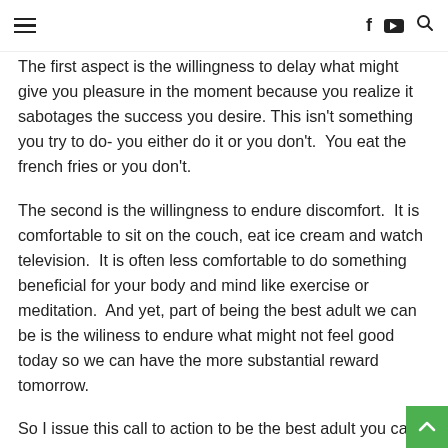≡  f  ▶  🔍
The first aspect is the willingness to delay what might give you pleasure in the moment because you realize it sabotages the success you desire. This isn't something you try to do- you either do it or you don't.  You eat the french fries or you don't.
The second is the willingness to endure discomfort.  It is comfortable to sit on the couch, eat ice cream and watch television.  It is often less comfortable to do something beneficial for your body and mind like exercise or meditation.  And yet, part of being the best adult we can be is the wiliness to endure what might not feel good today so we can have the more substantial reward tomorrow.
So I issue this call to action to be the best adult you can be for a couple reasons.  First, because it is the best thing you can do for yourself.  I want you to have the health and happiness you desir and standing up right now and claiming it is the best way to make